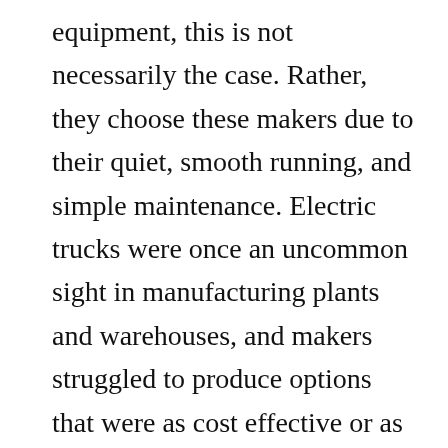equipment, this is not necessarily the case. Rather, they choose these makers due to their quiet, smooth running, and simple maintenance. Electric trucks were once an uncommon sight in manufacturing plants and warehouses, and makers struggled to produce options that were as cost effective or as powerful as internal combustion engines. Fortunately, there are now electrical lift trucks that satisfy the requirements of many producers and supply an outstanding balance in between efficiency and cost.